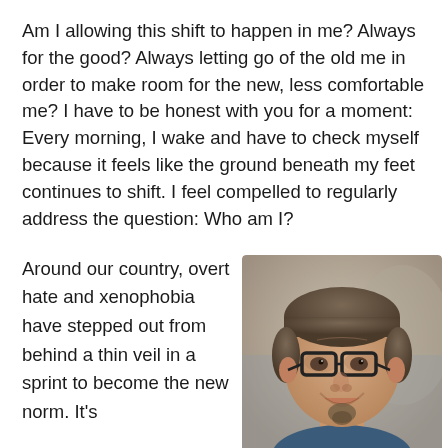Am I allowing this shift to happen in me? Always for the good? Always letting go of the old me in order to make room for the new, less comfortable me? I have to be honest with you for a moment: Every morning, I wake and have to check myself because it feels like the ground beneath my feet continues to shift. I feel compelled to regularly address the question: Who am I?
Around our country, overt hate and xenophobia have stepped out from behind a thin veil in a sprint to become the new norm. It's
[Figure (photo): Portrait photo of a middle-aged man with short salt-and-pepper hair, wearing black-rimmed glasses and a blue shirt, smiling slightly, with a blurred background.]